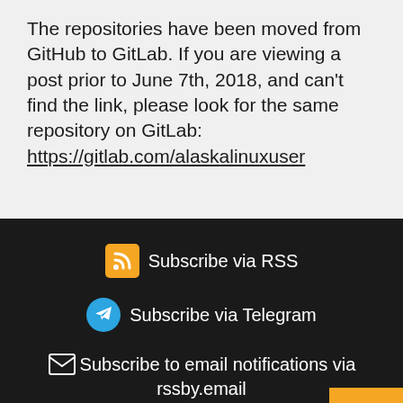The repositories have been moved from GitHub to GitLab. If you are viewing a post prior to June 7th, 2018, and can't find the link, please look for the same repository on GitLab: https://gitlab.com/alaskalinuxuser
Subscribe via RSS
Subscribe via Telegram
Subscribe to email notifications via rssby.email
Subscribe via MailChimp: